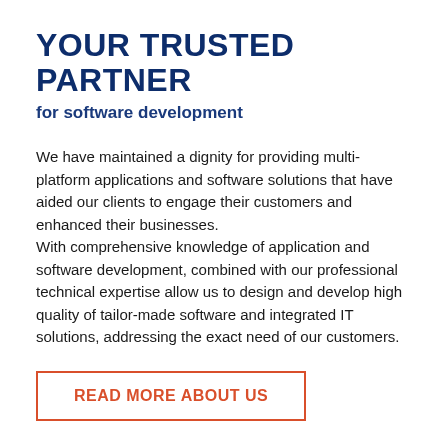YOUR TRUSTED PARTNER
for software development
We have maintained a dignity for providing multi-platform applications and software solutions that have aided our clients to engage their customers and enhanced their businesses.
With comprehensive knowledge of application and software development, combined with our professional technical expertise allow us to design and develop high quality of tailor-made software and integrated IT solutions, addressing the exact need of our customers.
READ MORE ABOUT US